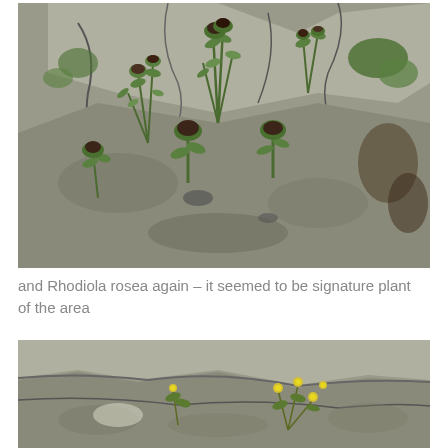[Figure (photo): Photograph of Rhodiola rosea plants growing among grey limestone rocks. The plants have dense green foliage with dark reddish-brown flower heads. Several rosettes visible growing from crevices in the rock.]
and Rhodiola rosea again – it seemed to be signature plant of the area
[Figure (photo): Photograph of small yellow flowers growing in crevices between grey limestone rocks. The plants have green leaves and delicate yellow blooms.]